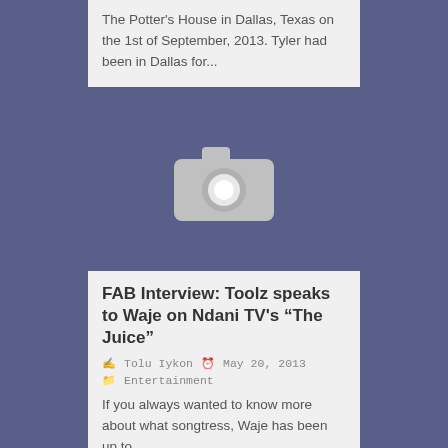The Potter's House in Dallas, Texas on the 1st of September, 2013. Tyler had been in Dallas for...
[Figure (photo): Placeholder image with camera icon on a dark blue-grey background]
FAB Interview: Toolz speaks to Waje on Ndani TV’s “The Juice”
Tolu Iykon   May 20, 2013
Entertainment
If you always wanted to know more about what songtress, Waje has been up to...